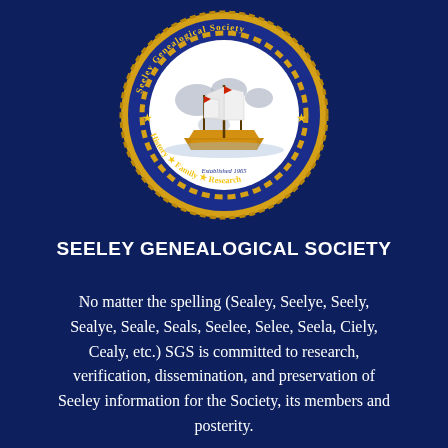[Figure (logo): Circular seal of the Seeley Genealogical Society. Dark navy blue background with gold rope border and gold chain inner ring. Features a tall ship (sailing vessel) in the center on a white globe background. Text around the top reads 'Seeley Genealogical Society' and bottom reads 'History ★ Family ★ Research'. Gold stars on left and right sides. Text 'Established 1965' appears near the bottom of the inner circle.]
SEELEY GENEALOGICAL SOCIETY
No matter the spelling (Sealey, Seelye, Seely, Sealye, Seale, Seals, Seelee, Selee, Seela, Ciely, Cealy, etc.) SGS is committed to research, verification, dissemination, and preservation of Seeley information for the Society, its members and posterity.